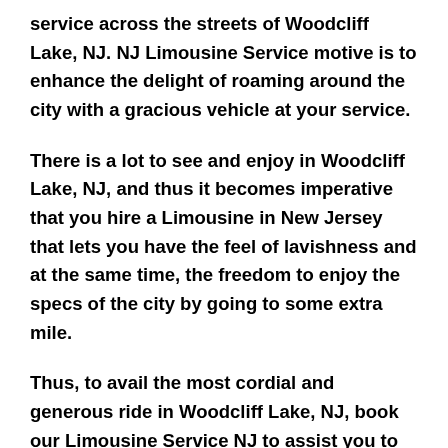service across the streets of Woodcliff Lake, NJ. NJ Limousine Service motive is to enhance the delight of roaming around the city with a gracious vehicle at your service.
There is a lot to see and enjoy in Woodcliff Lake, NJ, and thus it becomes imperative that you hire a Limousine in New Jersey that lets you have the feel of lavishness and at the same time, the freedom to enjoy the specs of the city by going to some extra mile.
Thus, to avail the most cordial and generous ride in Woodcliff Lake, NJ, book our Limousine Service NJ to assist you to every street, within the most affordable price range.